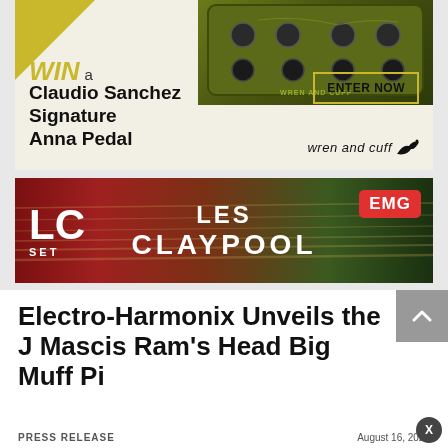[Figure (photo): Advertisement for Wren and Cuff Claudio Sanchez Signature Anna Pedal. Yellow-olive colored guitar pedal shown at top right. Text says WIN a Claudio Sanchez Signature Anna Pedal with an ENTER NOW button and Wren and Cuff branding with bird logo.]
[Figure (photo): EMG pickups advertisement featuring Les Claypool LC Set. Shows a close-up of guitar strings and fretboard with red/brown/green tones. Text shows LC SET on left, LES CLAYPOOL in large white letters center, and EMG logo badge top right.]
Electro-Harmonix Unveils the J Mascis Ram's Head Big Muff Pi
PRESS RELEASE
August 16, 2022